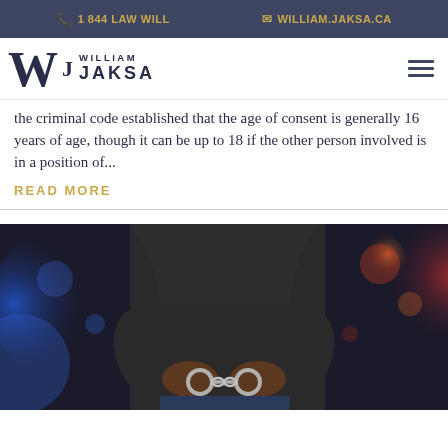1 844 LAW WILL | WILLIAM.JAKSA.CA
[Figure (logo): William Jaksa law firm logo with stylized W and firm name, plus hamburger menu icon]
the criminal code established that the age of consent is generally 16 years of age, though it can be up to 18 if the other person involved is in a position of...
READ MORE
[Figure (photo): Person with hands handcuffed behind their back, with police lights in the background (blue and red bokeh). The person is wearing a dark hoodie and jeans.]